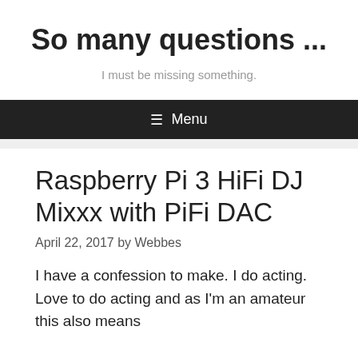So many questions ...
I must be missing something.
≡ Menu
Raspberry Pi 3 HiFi DJ Mixxx with PiFi DAC
April 22, 2017 by Webbes
I have a confession to make. I do acting. Love to do acting and as I'm an amateur this also means